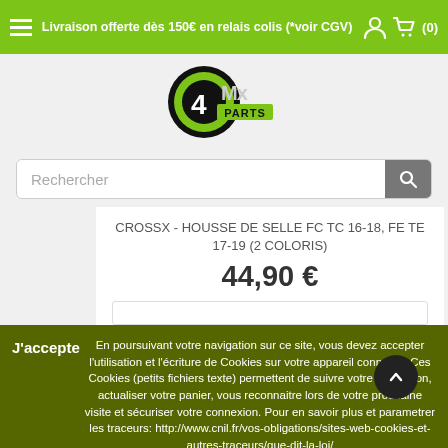Livraison offerte dès 150€ en relais colis (*voir CGV)
[Figure (logo): 4MX Parts logo — circular green and black emblem with '4Mx PARTS' text]
Rechercher
CROSSX - HOUSSE DE SELLE FC TC 16-18, FE TE 17-19 (2 COLORIS)
44,90 €
En poursuivant votre navigation sur ce site, vous devez accepter l'utilisation et l'écriture de Cookies sur votre appareil connecté. Ces Cookies (petits fichiers texte) permettent de suivre votre navigation, actualiser votre panier, vous reconnaitre lors de votre prochaine visite et sécuriser votre connexion. Pour en savoir plus et parametrer les traceurs: http://www.cnil.fr/vos-obligations/sites-web-cookies-et-autres-traceurs/que-dit-la-loi/
J'accepte